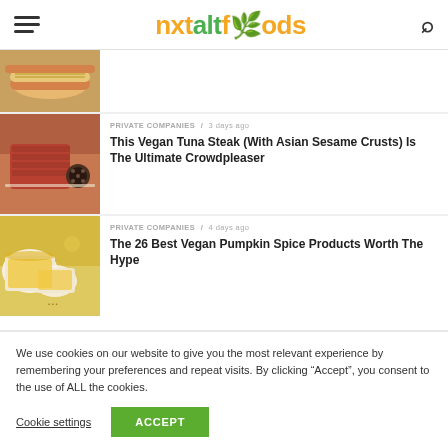nxtaltfoods
[Figure (photo): Partial view of a hot dog or sandwich article thumbnail at top]
[Figure (photo): Vegan tuna steak with Asian sesame crusts on a plate with seasoning]
PRIVATE COMPANIES / 3 days ago
This Vegan Tuna Steak (With Asian Sesame Crusts) Is The Ultimate Crowdpleaser
[Figure (photo): Vegan pumpkin spice products on a plate]
PRIVATE COMPANIES / 4 days ago
The 26 Best Vegan Pumpkin Spice Products Worth The Hype
We use cookies on our website to give you the most relevant experience by remembering your preferences and repeat visits. By clicking “Accept”, you consent to the use of ALL the cookies.
Cookie settings  ACCEPT